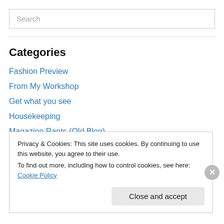Search
Categories
Fashion Preview
From My Workshop
Get what you see
Housekeeping
Magazine Rants (Old Blog)
Movie Reviews
Pattern Testing
Privacy & Cookies: This site uses cookies. By continuing to use this website, you agree to their use.
To find out more, including how to control cookies, see here: Cookie Policy
Close and accept